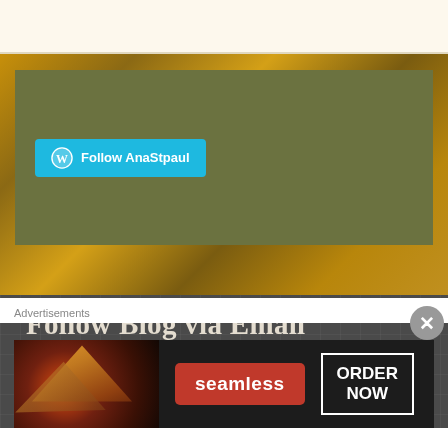[Figure (screenshot): Top white/cream navigation bar area of a blog website]
[Figure (screenshot): Olive green panel with a cyan 'Follow AnaStpaul' WordPress follow button on a golden textured background]
Follow Blog via Email
Enter your email address to follow this blog and receive notifications of new posts by email.
Advertisements
[Figure (screenshot): Seamless food delivery advertisement banner showing pizza slices on left, red Seamless logo button in center, and ORDER NOW button on right]